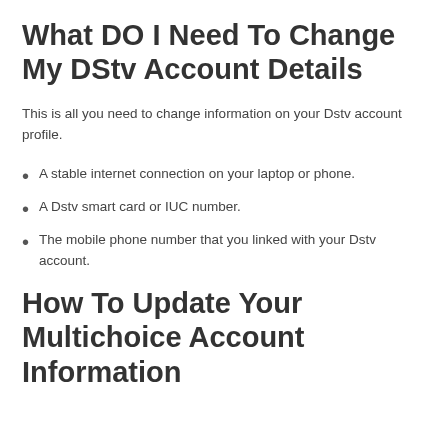What DO I Need To Change My DStv Account Details
This is all you need to change information on your Dstv account profile.
A stable internet connection on your laptop or phone.
A Dstv smart card or IUC number.
The mobile phone number that you linked with your Dstv account.
How To Update Your Multichoice Account Information